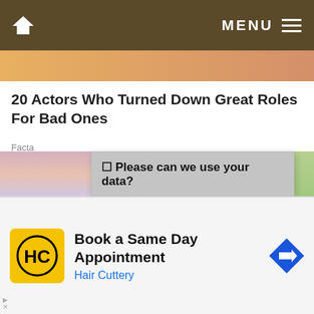🏠  MENU ≡
[Figure (photo): Partial image strip visible at top of article]
20 Actors Who Turned Down Great Roles For Bad Ones
Facta
🔒 Please can we use your data?
We use necessary cookies to make our site work. We'd also like to set optional analytics cookies to help us understand how the site is used, and marketing cookies to help ensure that you see relevant advertising. You can allow all cookies or manage them individually. More information
[Figure (photo): Partial photos visible on left and right sides of page behind cookie dialog]
[Figure (screenshot): Advertisement: Book a Same Day Appointment - Hair Cuttery with HC logo]